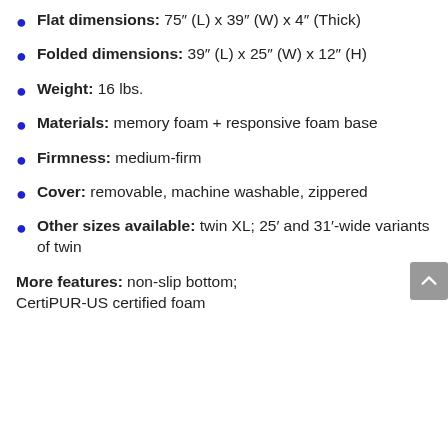Flat dimensions: 75″ (L) x 39″ (W) x 4″ (Thick)
Folded dimensions: 39″ (L) x 25″ (W) x 12″ (H)
Weight: 16 lbs.
Materials: memory foam + responsive foam base
Firmness: medium-firm
Cover: removable, machine washable, zippered
Other sizes available: twin XL; 25′ and 31′-wide variants of twin
More features: non-slip bottom; CertiPUR-US certified foam